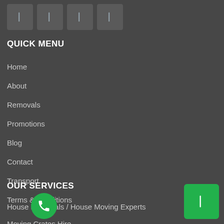[Figure (logo): Four social media icon boxes (grey squares with icons)]
QUICK MENU
Home
About
Removals
Promotions
Blog
Contact
Transport
Terms & Conditions
OUR SERVICES
House Removals / House Moving Experts
Moving Crates Hire